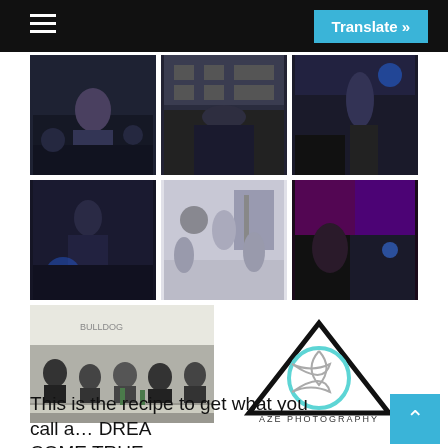≡   Translate »
[Figure (photo): Grid of 7 event/party photos taken in a dimly lit venue with blue lighting, showing people at what appears to be a social gathering or performance event. Bottom row includes a group sitting photo and a logo for 'AZE PHOTOGRAPHY' featuring a triangle with a camera aperture symbol.]
This is the recipe to get what you call a... DREAM COME TRUE